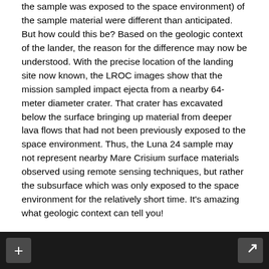the sample was exposed to the space environment) of the sample material were different than anticipated. But how could this be? Based on the geologic context of the lander, the reason for the difference may now be understood. With the precise location of the landing site now known, the LROC images show that the mission sampled impact ejecta from a nearby 64-meter diameter crater. That crater has excavated below the surface bringing up material from deeper lava flows that had not been previously exposed to the space environment. Thus, the Luna 24 sample may not represent nearby Mare Crisium surface materials observed using remote sensing techniques, but rather the subsurface which was only exposed to the space environment for the relatively short time. It's amazing what geologic context can tell you!
Explore the surroundings near the Luna 24 spacecraft on your own!
[Figure (screenshot): Dark/black image strip at the bottom of the page with a plus button on the left and an arrow/expand button on the right, representing an interactive map or image viewer UI.]